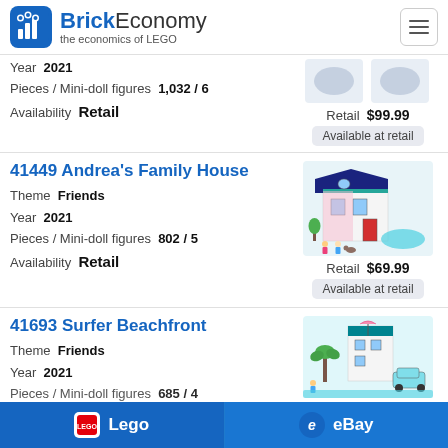BrickEconomy — the economics of LEGO
Year 2021
Pieces / Mini-doll figures 1,032 / 6
Availability Retail
Retail $99.99
Available at retail
41449 Andrea's Family House
Theme Friends
Year 2021
Pieces / Mini-doll figures 802 / 5
Availability Retail
Retail $69.99
Available at retail
41693 Surfer Beachfront
Theme Friends
Year 2021
Pieces / Mini-doll figures 685 / 4